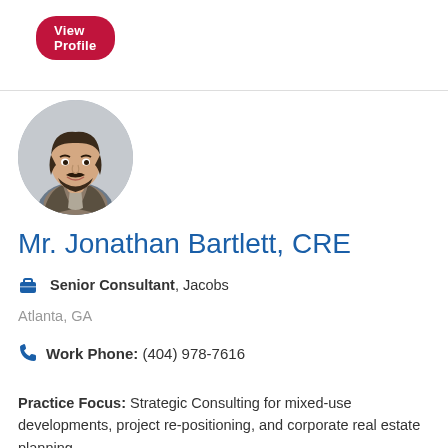View Profile
[Figure (photo): Circular profile photo of a man with dark beard wearing a blazer, smiling, against a light background]
Mr. Jonathan Bartlett, CRE
Senior Consultant, Jacobs
Atlanta, GA
Work Phone: (404) 978-7616
Practice Focus: Strategic Consulting for mixed-use developments, project re-positioning, and corporate real estate planning.